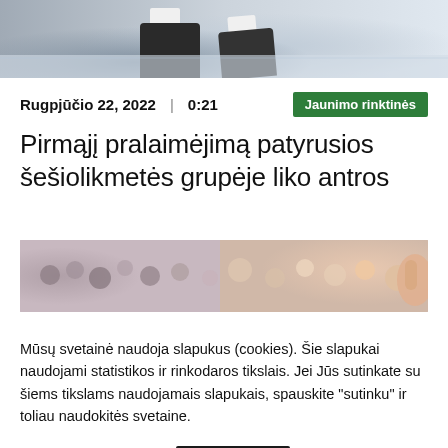[Figure (photo): Top portion of a sports image showing players' feet/shoes on a court floor]
Rugpjūčio 22, 2022 | 0:21
Jaunimo rinktinės
Pirmąjį pralaimėjimą patyrusios šešiolikmetės grupėje liko antros
[Figure (photo): Crowd of spectators/audience at a sports event]
Mūsų svetainė naudoja slapukus (cookies). Šie slapukai naudojami statistikos ir rinkodaros tikslais. Jei Jūs sutinkate su šiems tikslams naudojamais slapukais, spauskite "sutinku" ir toliau naudokitės svetaine.
Plačiau apie slapukus
Sutinku